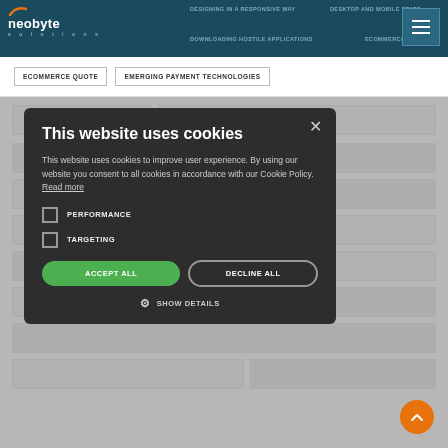neobyte solutions — DESIGNING IN A RESPONSIVE WAY | DESKTOP AND MOBILE STATS | DOWNLOADING HOSTILE APPLICATIONS | ECOMMERCE PLATFORM
ECOMMERCE QUOTE
EMERGING PAYMENT TECHNOLOGIES
This website uses cookies
This website uses cookies to improve user experience. By using our website you consent to all cookies in accordance with our Cookie Policy. Read more
PERFORMANCE
TARGETING
ACCEPT ALL
DECLINE ALL
SHOW DETAILS